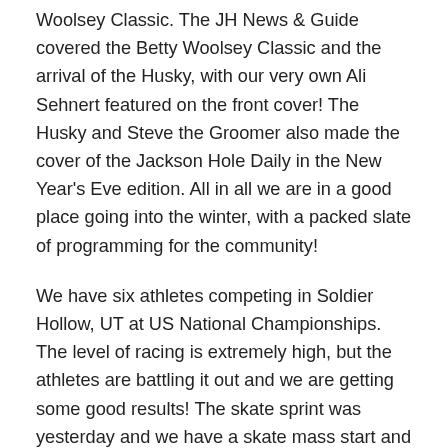Woolsey Classic. The JH News & Guide covered the Betty Woolsey Classic and the arrival of the Husky, with our very own Ali Sehnert featured on the front cover!  The Husky and Steve the Groomer also made the cover of the Jackson Hole Daily in the New Year's Eve edition.  All in all we are in a good place going into the winter, with a packed slate of programming for the community!
We have six athletes competing in Soldier Hollow, UT at US National Championships. The level of racing is extremely high, but the athletes are battling it out and we are getting some good results! The skate sprint was yesterday and we have a skate mass start and a classic individual start on deck for the rest of the week. It has been inspiring seeing the level of American Nordic skiing right now; the fields are large and strong, which is good for our country. These races serve as selection for the Olympics, World Cup races, and Junior